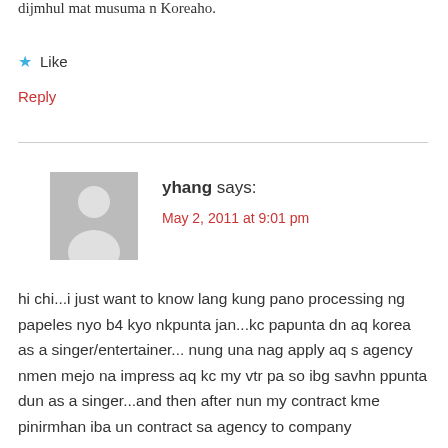dijmhul mat musuma n Koreaho.
★ Like
Reply
yhang says:
May 2, 2011 at 9:01 pm
hi chi...i just want to know lang kung pano processing ng papeles nyo b4 kyo nkpunta jan...kc papunta dn aq korea as a singer/entertainer... nung una nag apply aq s agency nmen mejo na impress aq kc my vtr pa so ibg savhn ppunta dun as a singer...and then after nun my contract kme pinirmhan iba un contract sa agency to company